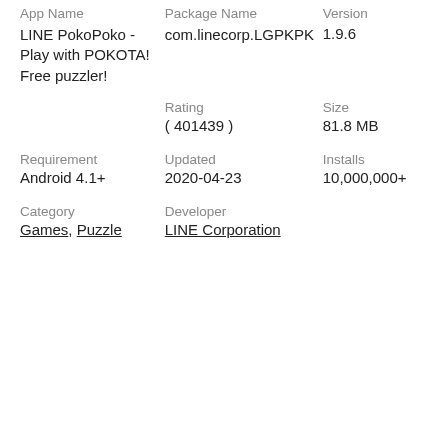| App Name | Package Name | Version |
| --- | --- | --- |
| LINE PokoPoko - Play with POKOTA! Free puzzler! | com.linecorp.LGPKPK | 1.9.6 |
|  | Rating
( 401439 ) | Size
81.8 MB |
| Requirement
Android 4.1+ | Updated
2020-04-23 | Installs
10,000,000+ |
| Category
Games, Puzzle | Developer
LINE Corporation |  |